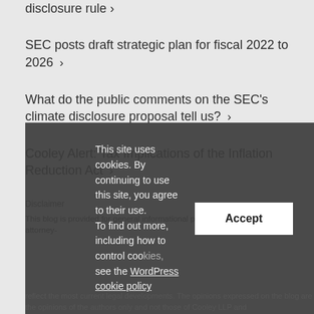disclosure rule >
SEC posts draft strategic plan for fiscal 2022 to 2026 >
What do the public comments on the SEC's climate disclosure proposal tell us? >
Cooley Alert: Tax Implications of the Inflation Reduction Act >
Disclaimer
This blog is provided for general informational purposes only and no attorney-
This site uses cookies. By continuing to use this site, you agree to their use. To find out more, including how to control cookies, see the WordPress cookie policy
reflect the most current legal developments. The opinions expressed on the blog are the opinions of the authors only and not those of Cooley LLP and